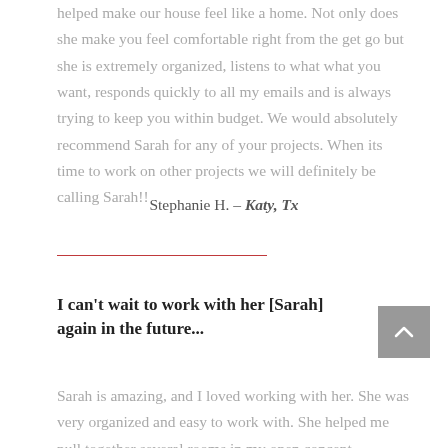helped make our house feel like a home. Not only does she make you feel comfortable right from the get go but she is extremely organized, listens to what what you want, responds quickly to all my emails and is always trying to keep you within budget. We would absolutely recommend Sarah for any of your projects. When its time to work on other projects we will definitely be calling Sarah!!
Stephanie H. – Katy, Tx
I can't wait to work with her [Sarah] again in the future...
Sarah is amazing, and I loved working with her. She was very organized and easy to work with. She helped me pull together several rooms in my open concept